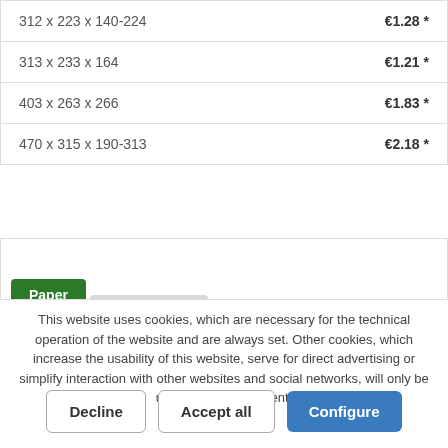| Dimensions | Price |
| --- | --- |
| 312 x 223 x 140-224 | €1.28 * |
| 313 x 233 x 164 | €1.21 * |
| 403 x 263 x 266 | €1.83 * |
| 470 x 315 x 190-313 | €2.18 * |
Paper
This website uses cookies, which are necessary for the technical operation of the website and are always set. Other cookies, which increase the usability of this website, serve for direct advertising or simplify interaction with other websites and social networks, will only be used with your consent.
More information
Decline
Accept all
Configure